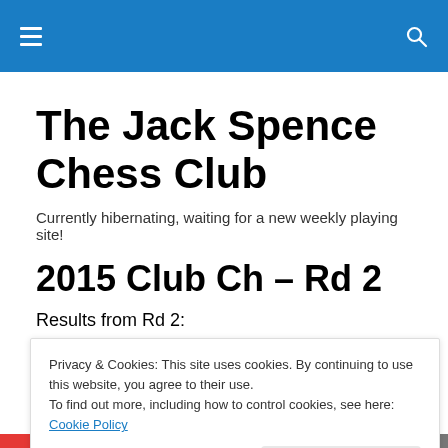Navigation bar with hamburger menu and search icon
The Jack Spence Chess Club
Currently hibernating, waiting for a new weekly playing site!
2015 Club Ch – Rd 2
Results from Rd 2:
Privacy & Cookies: This site uses cookies. By continuing to use this website, you agree to their use.
To find out more, including how to control cookies, see here: Cookie Policy
Close and accept